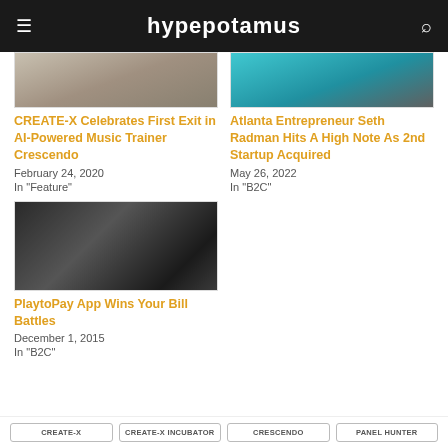hypepotamus
[Figure (photo): Photo of a person playing music, partially cropped - article thumbnail for CREATE-X Celebrates First Exit in AI-Powered Music Trainer Crescendo]
CREATE-X Celebrates First Exit in AI-Powered Music Trainer Crescendo
February 24, 2020
In "Feature"
[Figure (photo): Photo of a person in a dark shirt against a teal background - article thumbnail for Atlanta Entrepreneur Seth Radman Hits A High Note As 2nd Startup Acquired]
Atlanta Entrepreneur Seth Radman Hits A High Note As 2nd Startup Acquired
May 26, 2022
In "B2C"
[Figure (photo): Photo of men in suits sitting around a restaurant table - article thumbnail for PlaytoPay App Wins Your Bill Battles]
PlaytoPay App Wins Your Bill Battles
December 1, 2015
In "B2C"
CREATE-X
CREATE-X INCUBATOR
CRESCENDO
PANEL HUNTER